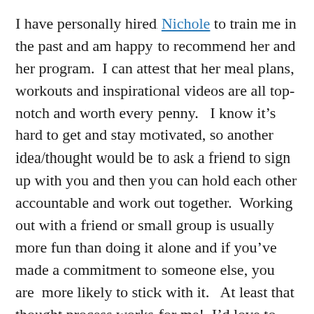I have personally hired Nichole to train me in the past and am happy to recommend her and her program.  I can attest that her meal plans, workouts and inspirational videos are all top-notch and worth every penny.   I know it's hard to get and stay motivated, so another idea/thought would be to ask a friend to sign up with you and then you can hold each other accountable and work out together.  Working out with a friend or small group is usually more fun than doing it alone and if you've  made a commitment to someone else, you are  more likely to stick with it.   At least that thought process works for me!  I'd love to hear your feedback from this program after you're done